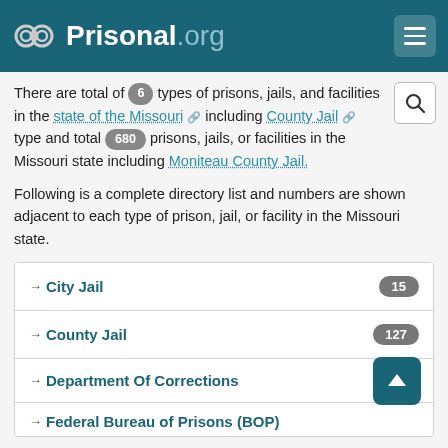Prisonal.org
There are total of 6 types of prisons, jails, and facilities in the state of the Missouri including County Jail type and total 680 prisons, jails, or facilities in the Missouri state including Moniteau County Jail.
Following is a complete directory list and numbers are shown adjacent to each type of prison, jail, or facility in the Missouri state.
City Jail — 15
County Jail — 127
Department Of Corrections
Federal Bureau of Prisons (BOP)